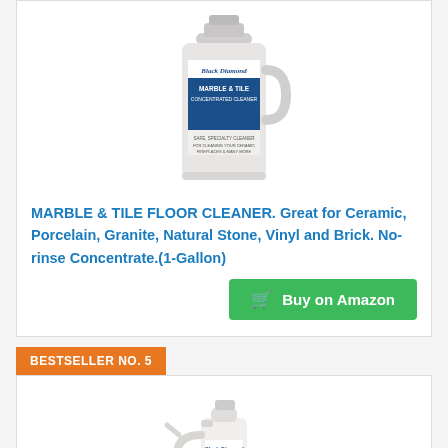[Figure (photo): Product photo of Black Diamond Marble & Tile Concentrated Cleaner, 1-gallon white jug with blue label]
MARBLE & TILE FLOOR CLEANER. Great for Ceramic, Porcelain, Granite, Natural Stone, Vinyl and Brick. No-rinse Concentrate.(1-Gallon)
Buy on Amazon
BESTSELLER NO. 5
[Figure (photo): Product photo of Black Diamond spray bottle cleaner, white spray bottle with blue label, partially visible]